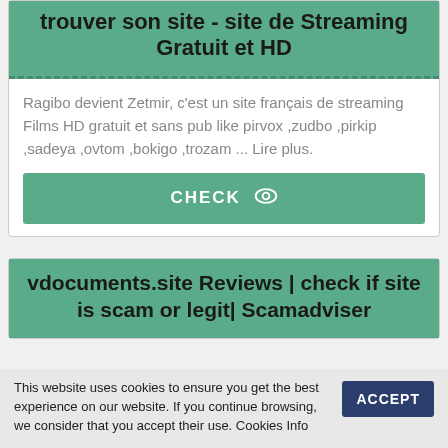trouver son site - site de Streaming Gratuit et HD
Ragibo devient Zetmir, c'est un site français de streaming Films HD gratuit et sans pub like pirvox ,zudbo ,pirkip ,sadeya ,ovtom ,bokigo ,trozam ... Lire plus.
CHECK
vdocuments.site Reviews | check if site is scam or legit| Scamadviser
This website uses cookies to ensure you get the best experience on our website. If you continue browsing, we consider that you accept their use. Cookies Info